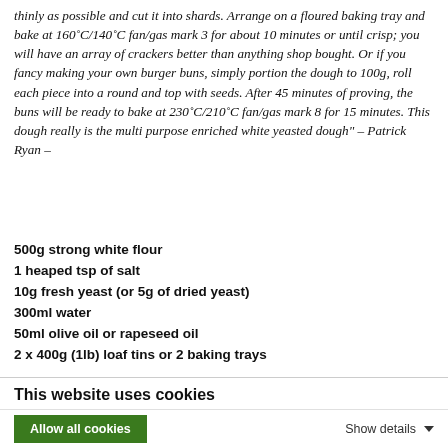thinly as possible and cut it into shards. Arrange on a floured baking tray and bake at 160˚C/140˚C fan/gas mark 3 for about 10 minutes or until crisp; you will have an array of crackers better than anything shop bought. Or if you fancy making your own burger buns, simply portion the dough to 100g, roll each piece into a round and top with seeds. After 45 minutes of proving, the buns will be ready to bake at 230˚C/210˚C fan/gas mark 8 for 15 minutes. This dough really is the multi purpose enriched white yeasted dough" – Patrick Ryan –
500g strong white flour
1 heaped tsp of salt
10g fresh yeast (or 5g of dried yeast)
300ml water
50ml olive oil or rapeseed oil
2 x 400g (1lb) loaf tins or 2 baking trays
This website uses cookies
We use cookies to personalise content and ads, to provide social media features and to analyse our traffic. We also share information about your use of our site with our social media, advertising and analytics partners who may combine it with other information that you've provided to them or that they've collected from your use of their services.
Allow all cookies
Show details